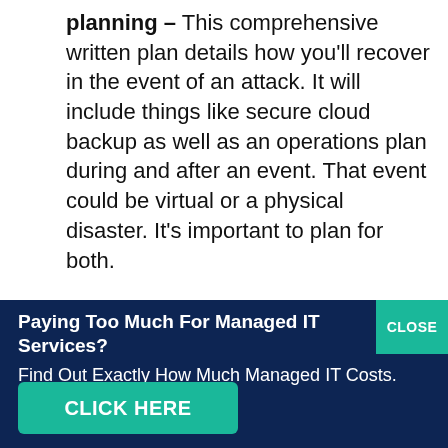planning – This comprehensive written plan details how you'll recover in the event of an attack. It will include things like secure cloud backup as well as an operations plan during and after an event. That event could be virtual or a physical disaster. It's important to plan for both.
6. Employee education – Cybercriminals are clever and the methods of deceit are ever-changing. These people are professional scammers who know exactly what to say. So
[Figure (screenshot): Dark navy banner advertisement overlay. Title: 'Paying Too Much For Managed IT Services?' Subtitle: 'Find Out Exactly How Much Managed IT Costs.' Green CLICK HERE button. Green CLOSE button top-right.]